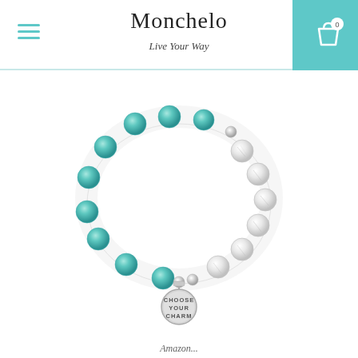Monchelo — Live Your Way
[Figure (photo): A beaded stretch bracelet with teal/aqua amazonite beads on the left half and white howlite/marble beads on the right half, connected by small silver spacer beads. A round silver charm tag hangs from the bottom center, engraved with the text CHOOSE YOUR CHARM.]
Amazon...